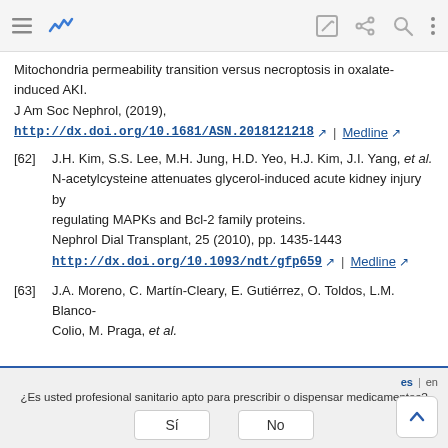Browser toolbar (UI chrome)
[62] J.H. Kim, S.S. Lee, M.H. Jung, H.D. Yeo, H.J. Kim, J.I. Yang, et al. N-acetylcysteine attenuates glycerol-induced acute kidney injury by regulating MAPKs and Bcl-2 family proteins. Nephrol Dial Transplant, 25 (2010), pp. 1435-1443 http://dx.doi.org/10.1093/ndt/gfp659 | Medline
[63] J.A. Moreno, C. Martín-Cleary, E. Gutiérrez, O. Toldos, L.M. Blanco-Colio, M. Praga, et al.
¿Es usted profesional sanitario apto para prescribir o dispensar medicamentos?